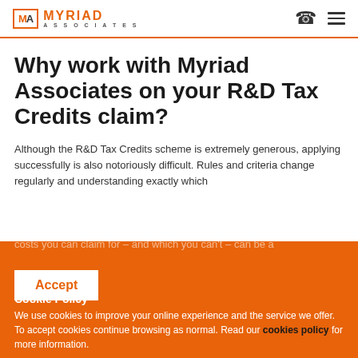Myriad Associates
Why work with Myriad Associates on your R&D Tax Credits claim?
Although the R&D Tax Credits scheme is extremely generous, applying successfully is also notoriously difficult. Rules and criteria change regularly and understanding exactly which costs you can claim for – and which you can't – can be a
Accept
Cookie Policy
We use cookies to improve your online experience and the service we offer. To accept cookies continue browsing as normal. Read our cookies policy for more information.